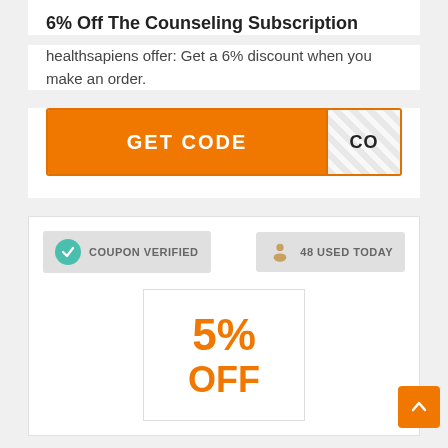6% Off The Counseling Subscription
healthsapiens offer: Get a 6% discount when you make an order.
[Figure (screenshot): Orange GET CODE button with hatched code reveal panel showing 'CO']
[Figure (infographic): Coupon verified badge with teal checkmark icon and '48 USED TODAY' badge with person icon]
[Figure (infographic): Promo box showing 5% OFF in orange bold text]